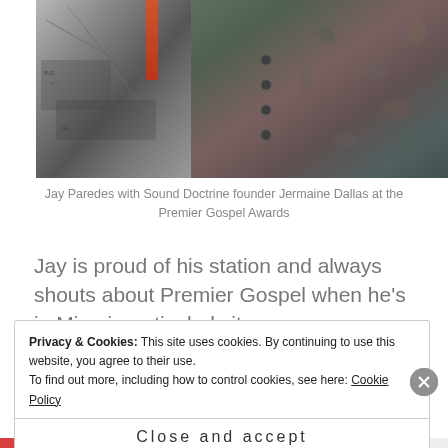[Figure (photo): Two photos side by side: left shows torn/crumpled newspaper or graphic print clothing, right shows a dark floral button-up shirt.]
Jay Paredes with Sound Doctrine founder Jermaine Dallas at the Premier Gospel Awards
Jay is proud of his station and always shouts about Premier Gospel when he's in Miami, particularly its
Privacy & Cookies: This site uses cookies. By continuing to use this website, you agree to their use.
To find out more, including how to control cookies, see here: Cookie Policy
Close and accept